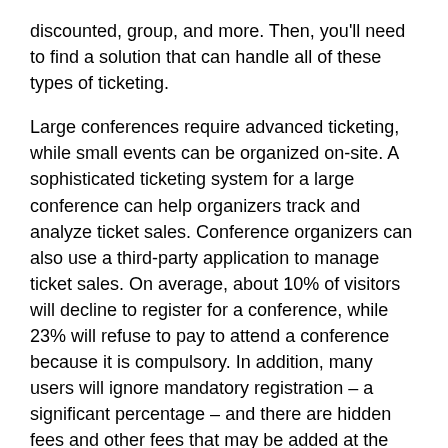discounted, group, and more. Then, you'll need to find a solution that can handle all of these types of ticketing.
Large conferences require advanced ticketing, while small events can be organized on-site. A sophisticated ticketing system for a large conference can help organizers track and analyze ticket sales. Conference organizers can also use a third-party application to manage ticket sales. On average, about 10% of visitors will decline to register for a conference, while 23% will refuse to pay to attend a conference because it is compulsory. In addition, many users will ignore mandatory registration – a significant percentage – and there are hidden fees and other fees that may be added at the last minute.